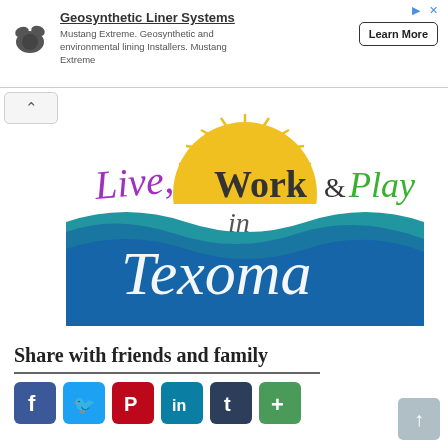[Figure (infographic): Advertisement banner for Geosynthetic Liner Systems (Mustang Extreme) with animal logo, text description, and Learn More button]
[Figure (logo): Live, Work & Play in Texoma logo with sun rising over blue waves graphic]
Share with friends and family
[Figure (infographic): Social sharing icons: Facebook, Twitter, Pinterest, LinkedIn, Tumblr, More (+)]